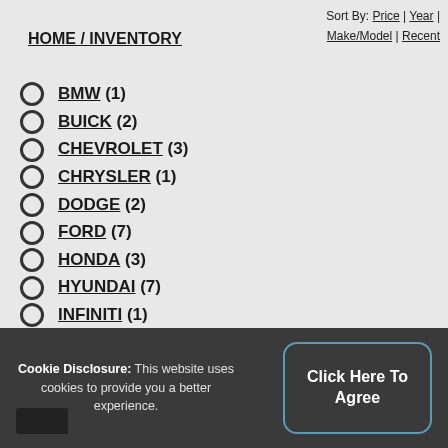Sort By: Price | Year | Make/Model | Recent
HOME / INVENTORY
BMW (1)
BUICK (2)
CHEVROLET (3)
CHRYSLER (1)
DODGE (2)
FORD (7)
HONDA (3)
HYUNDAI (7)
INFINITI (1)
JEEP (2)
Cookie Disclosure: This website uses cookies to provide you a better experience.
Click Here To Agree